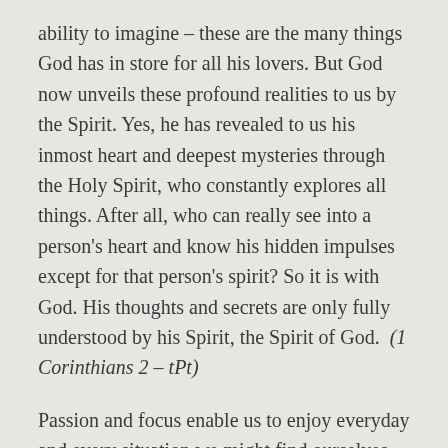ability to imagine – these are the many things God has in store for all his lovers. But God now unveils these profound realities to us by the Spirit. Yes, he has revealed to us his inmost heart and deepest mysteries through the Holy Spirit, who constantly explores all things. After all, who can really see into a person's heart and know his hidden impulses except for that person's spirit? So it is with God. His thoughts and secrets are only fully understood by his Spirit, the Spirit of God.  (1 Corinthians 2 – tPt)
Passion and focus enable us to enjoy everyday and every situation we might find ourselves in. We learn to love the hand of God in all things. The natural capacity to hear God was put into our DNA when we were born again, we were designed to be lovers of God. Life's unexpected circumstances empower us to grow and take us out of our comfort zones where we are being stretched beyond our limits. Religion keeps us in a